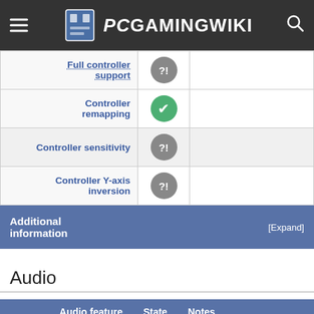PCGamingWiki
| Feature | State | Notes |
| --- | --- | --- |
| Full controller support | ?! |  |
| Controller remapping | ✔ |  |
| Controller sensitivity | ?! |  |
| Controller Y-axis inversion | ?! |  |
Additional information [Expand]
Audio
| Audio feature | State | Notes |
| --- | --- | --- |
| Separate volume controls | ?! |  |